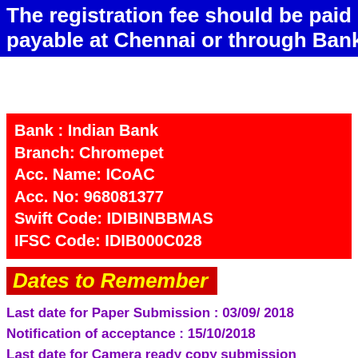The registration fee should be paid by DD drawn in favour of "ICoAC" payable at Chennai or through Bank Transfer.
Bank : Indian Bank
Branch: Chromepet
Acc. Name: ICoAC
Acc. No: 968081377
Swift Code: IDIBINBBMAS
IFSC Code: IDIB000C028
Dates to Remember
Last date for Paper Submission : 03/09/ 2018
Notification of acceptance : 15/10/2018
Last date for Camera ready copy submission